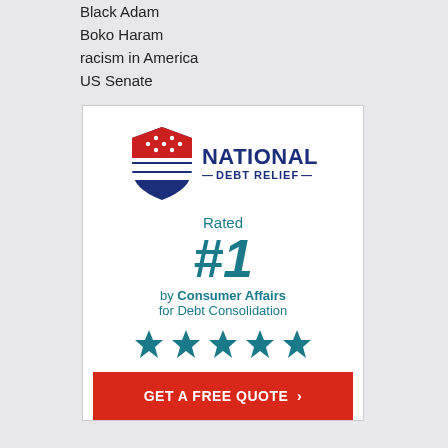Black Adam
Boko Haram
racism in America
US Senate
[Figure (advertisement): National Debt Relief advertisement. Logo with shield (red top with stars, blue bottom with stripes) and text NATIONAL DEBT RELIEF. Text: Rated #1 by Consumer Affairs for Debt Consolidation. Five blue stars. Red button: GET A FREE QUOTE >]